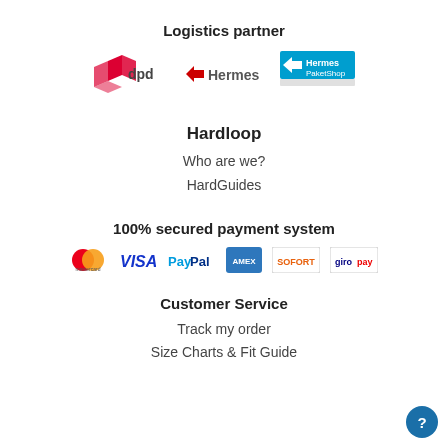Logistics partner
[Figure (logo): DPD, Hermes, and Hermes PaketShop logos]
Hardloop
Who are we?
HardGuides
100% secured payment system
[Figure (logo): Mastercard, VISA, PayPal, American Express, SOFORT, giropay payment logos]
Customer Service
Track my order
Size Charts & Fit Guide